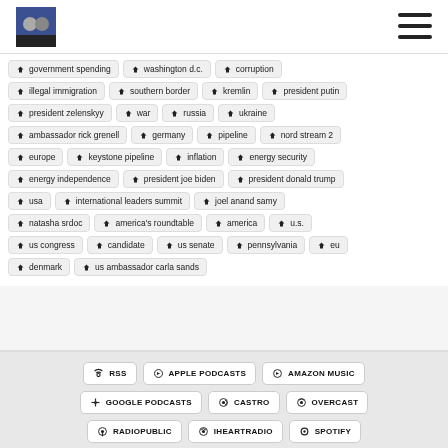America's Roundtable
government spending
washington d.c.
corruption
illegal immigration
southern border
kremlin
president putin
president zelenskyy
war
russia
ukraine
ambassador rick grenell
germany
pipeline
nord stream 2
europe
keystone pipeline
inflation
energy security
energy independence
president joe biden
president donald trump
usa
international leaders summit
joel anand samy
natasha srdoc
america's roundtable
america
u.s.
us congress
candidate
us senate
pennsylvania
eu
denmark
us ambassador carla sands
RSS | APPLE PODCASTS | AMAZON MUSIC | GOOGLE PODCASTS | CASTRO | OVERCAST | RADIOPUBLIC | IHEARTRADIO | SPOTIFY | STITCHER | TUNEIN | SHARE